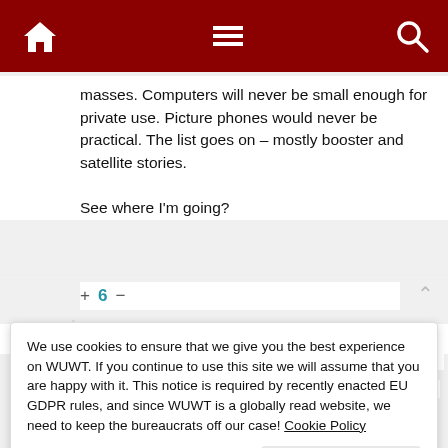WUWT navigation header with home, menu, and search icons
masses. Computers will never be small enough for private use. Picture phones would never be practical. The list goes on – mostly booster and satellite stories.

See where I'm going?
+ 6 −
Gordon A. Dressler
Reply to ex-KaliforniaKook   April 23, 2022 7:56 pm
Yes, thanks for the memories.
We use cookies to ensure that we give you the best experience on WUWT. If you continue to use this site we will assume that you are happy with it. This notice is required by recently enacted EU GDPR rules, and since WUWT is a globally read website, we need to keep the bureaucrats off our case! Cookie Policy
Close and accept